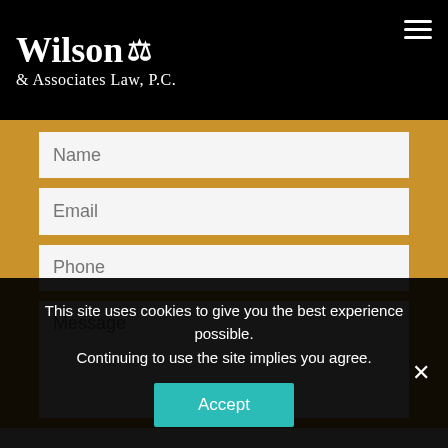Wilson & Associates Law, P.C.
[Figure (screenshot): Contact form with fields for Name, Email, Phone, and Message on a gold/tan background]
This site uses cookies to give you the best experience possible. Continuing to use the site implies you agree.
Accept